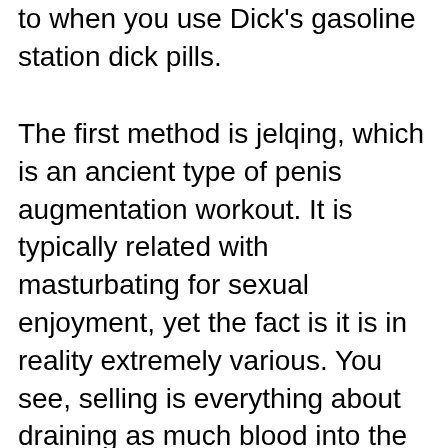to when you use Dick's gasoline station dick pills.
The first method is jelqing, which is an ancient type of penis augmentation workout. It is typically related with masturbating for sexual enjoyment, yet the fact is it is in reality extremely various. You see, selling is everything about draining as much blood into the penis as feasible, after that bringing it pull back gradually through the spongy cells that borders it. This brings a lot of stress, and a large amount of power to your manhood. This is exactly how someday pills are made, and that is why they work so well. The stress alone throughout this workout is very enjoyable, as it is virtually tearing your penis entirely apart.